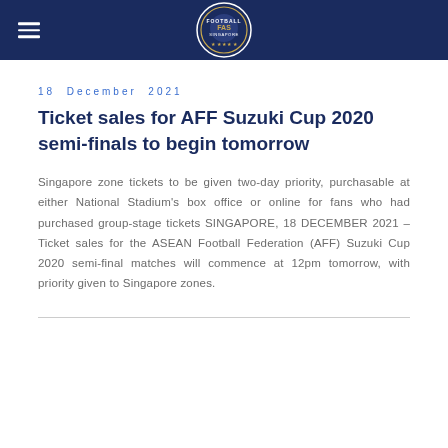FAS — Football Association of Singapore
18 December 2021
Ticket sales for AFF Suzuki Cup 2020 semi-finals to begin tomorrow
Singapore zone tickets to be given two-day priority, purchasable at either National Stadium's box office or online for fans who had purchased group-stage tickets SINGAPORE, 18 DECEMBER 2021 – Ticket sales for the ASEAN Football Federation (AFF) Suzuki Cup 2020 semi-final matches will commence at 12pm tomorrow, with priority given to Singapore zones.